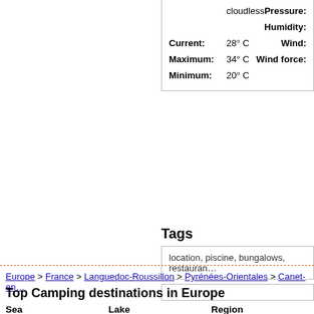|  | cloudless | Pressure: |  |
|  |  | Humidity: |  |
| Current: | 28° C | Wind: |  |
| Maximum: | 34° C | Wind force: |  |
| Minimum: | 20° C |  |  |
Tags
location, piscine, bungalows, restauran...
Europe > France > Languedoc-Roussillon > Pyrénées-Orientales > Canet-en...
Top Camping destinations in Europe
Sea: Adriatic Sea, Atlantic, Baltic Sea, Black Sea
Lake: Lake Balaton, Lake Como, Lake Garda, Lake Maggiore
Region: Bavaria, Catalon..., Istria K..., Langue...